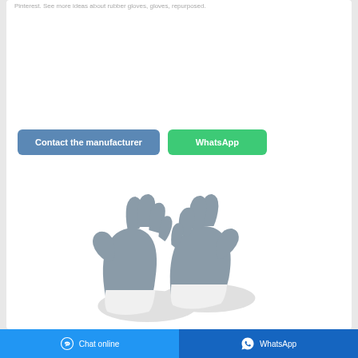Pinterest. See more ideas about rubber gloves, gloves, repurposed.
[Figure (other): Two buttons: 'Contact the manufacturer' (blue) and 'WhatsApp' (green)]
[Figure (photo): A pair of white and grey work gloves with nitrile coating, shown palm-up on white background]
Chat online | WhatsApp